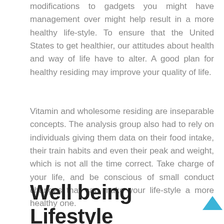modifications to gadgets you might have management over might help result in a more healthy life-style. To ensure that the United States to get healthier, our attitudes about health and way of life have to alter. A good plan for healthy residing may improve your quality of life.
Vitamin and wholesome residing are inseparable concepts. The analysis group also had to rely on individuals giving them data on their food intake, their train habits and even their peak and weight, which is not all the time correct. Take charge of your life, and be conscious of small conduct changes that can make your life-style a more healthy one.
Well being Lifestyle